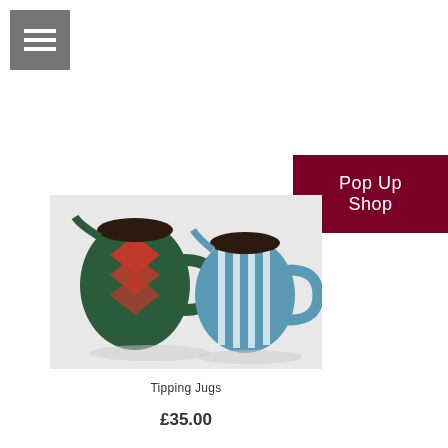[Figure (other): Hamburger menu icon — three white horizontal lines on a grey square background]
Pop Up Shop
[Figure (photo): Two ceramic tipping jugs on a light grey surface. The left jug is dark green with a red diamond harlequin pattern and a dark brown interior rim. The right jug is light blue with vertical white stripes and a dark brown interior rim.]
Tipping Jugs
£35.00